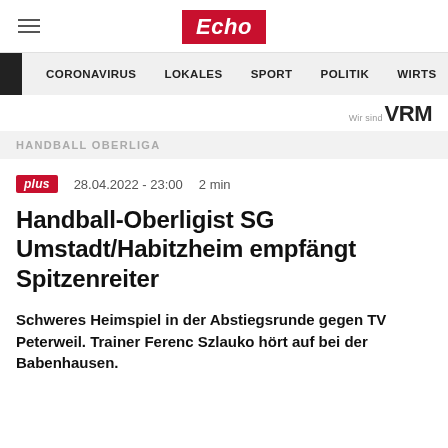Echo
CORONAVIRUS   LOKALES   SPORT   POLITIK   WIRTS
Wir sind VRM
HANDBALL OBERLIGA
plus   28.04.2022 - 23:00   2 min
Handball-Oberligist SG Umstadt/Habitzheim empfängt Spitzenreiter
Schweres Heimspiel in der Abstiegsrunde gegen TV Peterweil. Trainer Ferenc Szlauko hört auf bei der Babenhausen.